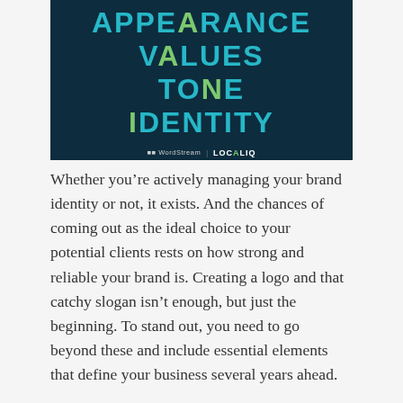[Figure (infographic): Dark navy blue background with stacked words in teal/cyan bold uppercase text: APPEARANCE, VALUES, TONE, IDENTITY. Select letters highlighted in green. WordStream | LOCALIQ logo at bottom right.]
Whether you're actively managing your brand identity or not, it exists. And the chances of coming out as the ideal choice to your potential clients rests on how strong and reliable your brand is. Creating a logo and that catchy slogan isn't enough, but just the beginning. To stand out, you need to go beyond these and include essential elements that define your business several years ahead.